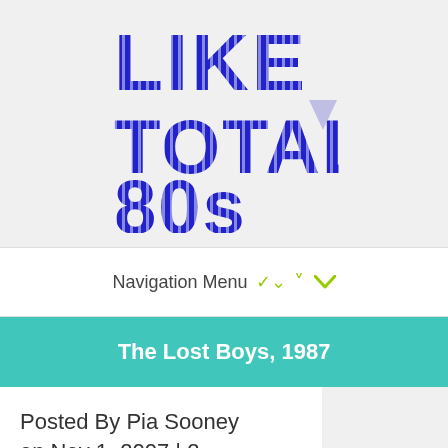[Figure (logo): Like Totally 80s website logo with bold blue striped lettering on light gray background]
Navigation Menu
The Lost Boys, 1987
Posted By Pia Sooney on Nov 1, 2007 | 2 comments